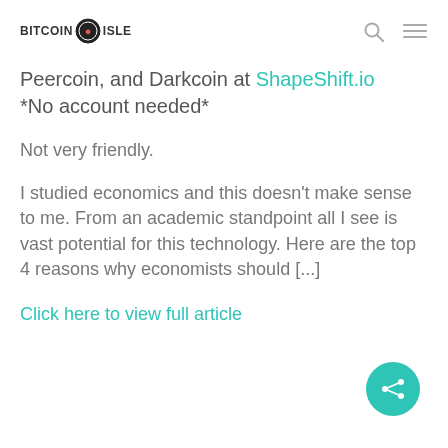BITCOIN ISLE
Peercoin, and Darkcoin at ShapeShift.io *No account needed*
Not very friendly.
I studied economics and this doesn't make sense to me. From an academic standpoint all I see is vast potential for this technology. Here are the top 4 reasons why economists should [...]
Click here to view full article